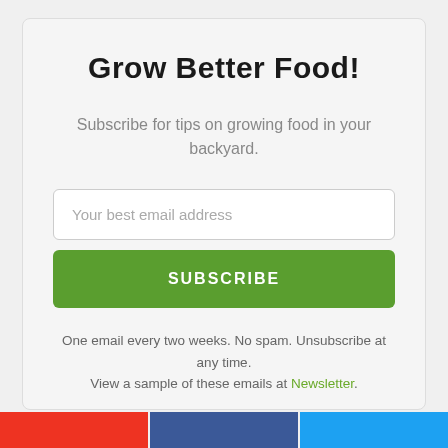Grow Better Food!
Subscribe for tips on growing food in your backyard.
Your best email address
SUBSCRIBE
One email every two weeks. No spam. Unsubscribe at any time.
View a sample of these emails at Newsletter.